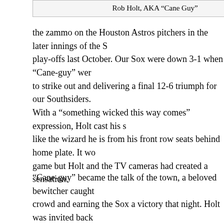Rob Holt, AKA “Cane Guy”
rabid septuage… the zammo on the Houston Astros pitchers in the later innings of the S… play-offs last October. Our Sox were down 3-1 when “Cane-guy” wer… to strike out and delivering a final 12-6 triumph for our Southsiders.
With a “something wicked this way comes” expression, Holt cast his s… like the wizard he is from his front row seats behind home plate. It wo… game but Holt and the TV cameras had created a sensation.
“Cane-guy” became the talk of the town, a beloved bewitcher caught… crowd and earning the Sox a victory that night. Holt was invited back… magic could not last, and the Astros went on to later lose the World Se…
Some “scientists” have claimed that Cane guy needs to work on his ai… misinterpreted Cane Guy’s evil eye and transported it to the Travis Sc… last November 5th, resulting in a mass stampede that killed eight audi… ended Scott’s career as a rapper.
Bringing “Cane-Guy” back as a bobble head is brilliant PR amid our v…